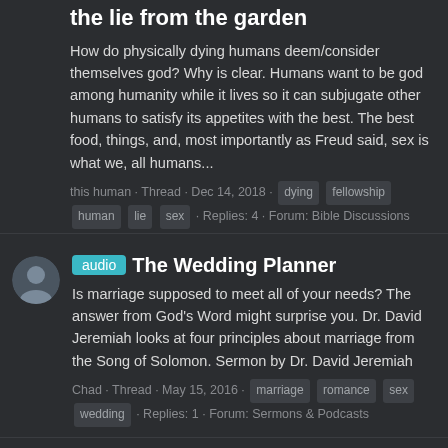the lie from the garden
How do physically dying humans deem/consider themselves god? Why is clear. Humans want to be god among humanity while it lives so it can subjugate other humans to satisfy its appetites with the best. The best food, things, and, most importantly as Freud said, sex is what we, all humans...
this human · Thread · Dec 14, 2018 · dying fellowship human lie sex · Replies: 4 · Forum: Bible Discussions
audio The Wedding Planner
Is marriage supposed to meet all of your needs? The answer from God's Word might surprise you. Dr. David Jeremiah looks at four principles about marriage from the Song of Solomon. Sermon by Dr. David Jeremiah
Chad · Thread · May 15, 2016 · marriage romance sex wedding · Replies: 1 · Forum: Sermons & Podcasts
Fifty Shades: A sexual assault on your daughter
Let's get one thing clear. The Fifty Shades movie opening